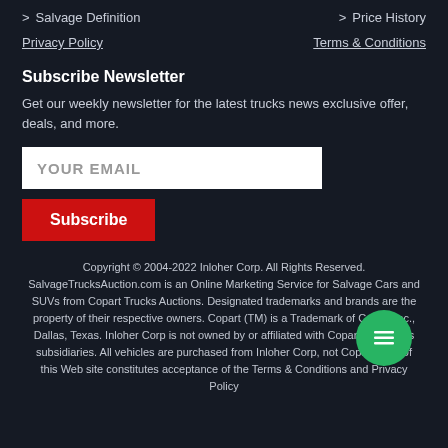> Salvage Definition
> Price History
Privacy Policy
Terms & Conditions
Subscribe Newsletter
Get our weekly newsletter for the latest trucks news exclusive offer, deals, and more.
YOUR EMAIL
Subscribe
Copyright © 2004-2022 Inloher Corp. All Rights Reserved. SalvageTrucksAuction.com is an Online Marketing Service for Salvage Cars and SUVs from Copart Trucks Auctions. Designated trademarks and brands are the property of their respective owners. Copart (TM) is a Trademark of Copart Inc., Dallas, Texas. Inloher Corp is not owned by or affiliated with Copart, Inc., or its subsidiaries. All vehicles are purchased from Inloher Corp, not Copart. Use of this Web site constitutes acceptance of the Terms & Conditions and Privacy Policy